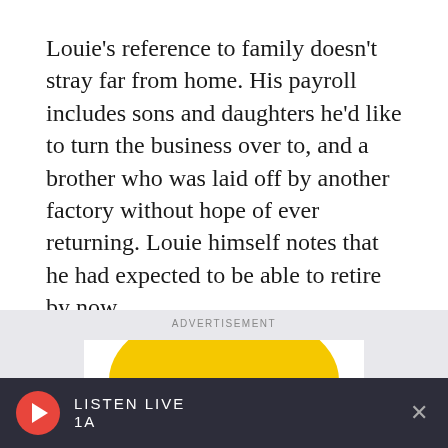Louie's reference to family doesn't stray far from home. His payroll includes sons and daughters he'd like to turn the business over to, and a brother who was laid off by another factory without hope of ever returning. Louie himself notes that he had expected to be able to retire by now.
[Figure (screenshot): Advertisement section showing Radio Boston logo with yellow blob background and 'RADIO BOSTON' text in bold black]
[Figure (screenshot): Listen Live audio player bar at bottom: red play button, 'LISTEN LIVE' and '1A' text on dark background, close X button]